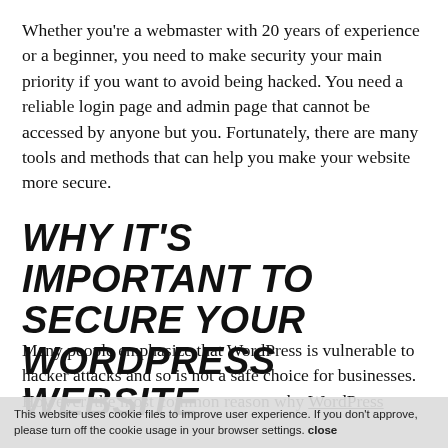Whether you're a webmaster with 20 years of experience or a beginner, you need to make security your main priority if you want to avoid being hacked. You need a reliable login page and admin page that cannot be accessed by anyone but you. Fortunately, there are many tools and methods that can help you make your website more secure.
WHY IT'S IMPORTANT TO SECURE YOUR WORDPRESS WEBSITE
Many people emphasize that WordPress is vulnerable to hacker attacks and so is not a safe choice for businesses. However, the most common reason why WordPress
This website uses cookie files to improve user experience. If you don't approve, please turn off the cookie usage in your browser settings. close